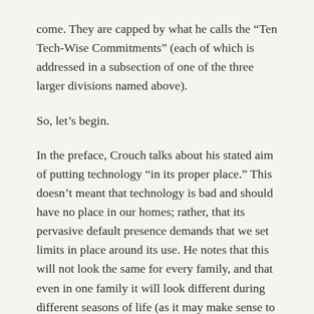come. They are capped by what he calls the “Ten Tech-Wise Commitments” (each of which is addressed in a subsection of one of the three larger divisions named above).
So, let’s begin.
In the preface, Crouch talks about his stated aim of putting technology “in its proper place.” This doesn’t meant that technology is bad and should have no place in our homes; rather, that its pervasive default presence demands that we set limits in place around its use. He notes that this will not look the same for every family, and that even in one family it will look different during different seasons of life (as it may make sense to completely prohibit television for a two-year-old, but not for a twelve-year-old, for example). He doesn’t provide a hard-and-fast list of what technology we should